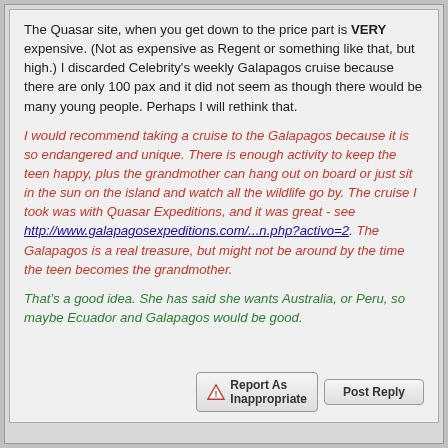The Quasar site, when you get down to the price part is VERY expensive. (Not as expensive as Regent or something like that, but high.) I discarded Celebrity's weekly Galapagos cruise because there are only 100 pax and it did not seem as though there would be many young people. Perhaps I will rethink that.
I would recommend taking a cruise to the Galapagos because it is so endangered and unique. There is enough activity to keep the teen happy, plus the grandmother can hang out on board or just sit in the sun on the island and watch all the wildlife go by. The cruise I took was with Quasar Expeditions, and it was great - see http://www.galapagosexpeditions.com/...n.php?activo=2. The Galapagos is a real treasure, but might not be around by the time the teen becomes the grandmother.
That's a good idea. She has said she wants Australia, or Peru, so maybe Ecuador and Galapagos would be good.